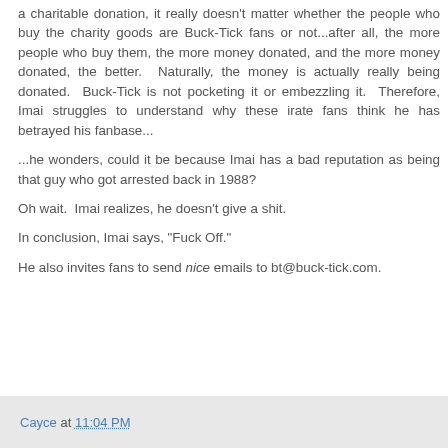a charitable donation, it really doesn't matter whether the people who buy the charity goods are Buck-Tick fans or not...after all, the more people who buy them, the more money donated, and the more money donated, the better. Naturally, the money is actually really being donated. Buck-Tick is not pocketing it or embezzling it. Therefore, Imai struggles to understand why these irate fans think he has betrayed his fanbase...
...he wonders, could it be because Imai has a bad reputation as being that guy who got arrested back in 1988?
Oh wait. Imai realizes, he doesn't give a shit.
In conclusion, Imai says, "Fuck Off."
He also invites fans to send nice emails to bt@buck-tick.com.
Cayce at 11:04 PM